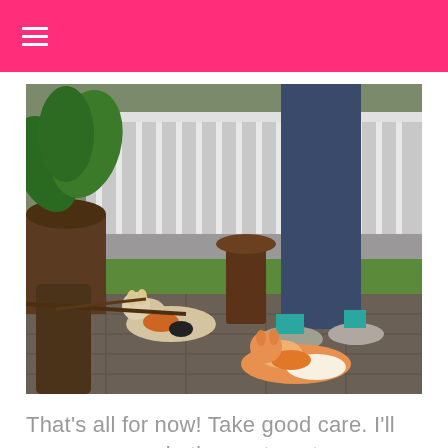≡
[Figure (photo): Outdoor patio scene with two cats lying on tiled ground near a person's legs wearing jeans and sneakers, surrounded by potted plants and a white fence in the background]
That's all for now! Take good care. I'll see you soon in the next post.